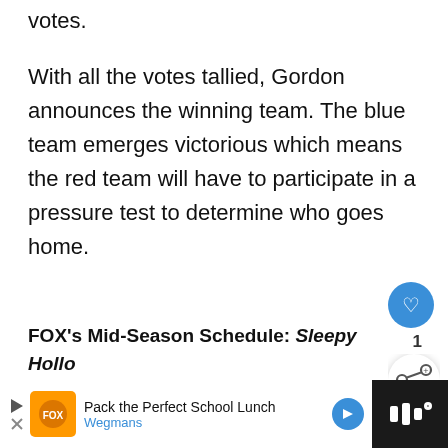votes.
With all the votes tallied, Gordon announces the winning team. The blue team emerges victorious which means the red team will have to participate in a pressure test to determine who goes home.
FOX's Mid-Season Schedule: Sleepy Hollow Moves to Fridays, Bones Missing >>>
[Figure (other): Social UI overlay: heart/like button with count of 1, share button]
[Figure (other): What's Next panel: thumbnail image, label 'WHAT'S NEXT', text 'Glee' Recap: Sex, Drunks...']
[Figure (other): Advertisement bar at bottom: 'Pack the Perfect School Lunch' Wegmans ad, with logo, play button, arrow, and dark right panel with sound icon]